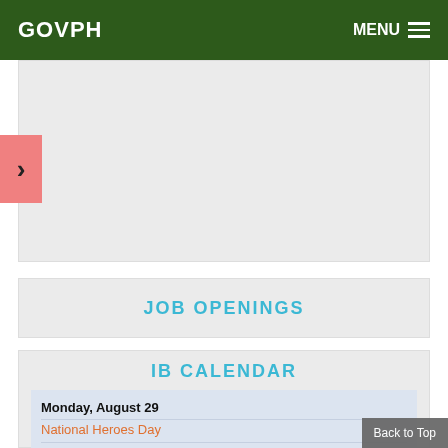GOVPH   MENU
[Figure (screenshot): Slideshow/banner image area with light gray background and salmon-colored right arrow navigation button on the left edge]
JOB OPENINGS
IB CALENDAR
Monday, August 29
National Heroes Day
Tuesday, August 30